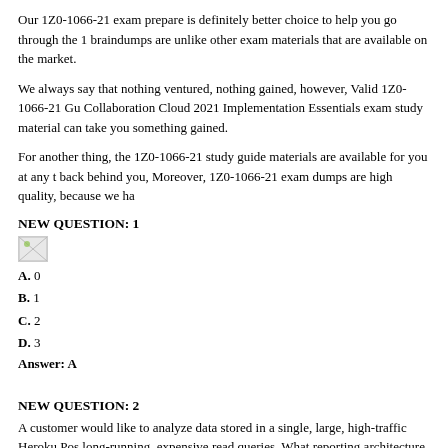Our 1Z0-1066-21 exam prepare is definitely better choice to help you go through the 1 braindumps are unlike other exam materials that are available on the market.
We always say that nothing ventured, nothing gained, however, Valid 1Z0-1066-21 Gu Collaboration Cloud 2021 Implementation Essentials exam study material can take you something gained.
For another thing, the 1Z0-1066-21 study guide materials are available for you at any t back behind you, Moreover, 1Z0-1066-21 exam dumps are high quality, because we ha
NEW QUESTION: 1
[Figure (illustration): Small broken image placeholder icon]
A. 0
B. 1
C. 2
D. 3
Answer: A
NEW QUESTION: 2
A customer would like to analyze data stored in a single, large, high-traffic Heroku Pos long-running, expensive read queries. What reporting architecture should be recomme
A client wants to create a Heroku web application that needs to provide a low-latency e